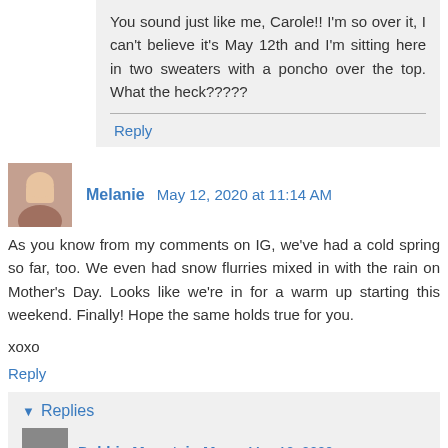You sound just like me, Carole!! I'm so over it, I can't believe it's May 12th and I'm sitting here in two sweaters with a poncho over the top. What the heck?????
Reply
Melanie  May 12, 2020 at 11:14 AM
As you know from my comments on IG, we've had a cold spring so far, too. We even had snow flurries mixed in with the rain on Mother's Day. Looks like we're in for a warm up starting this weekend. Finally! Hope the same holds true for you.
xoxo
Reply
Replies
Debbie Mountain Mom  May 12, 2020